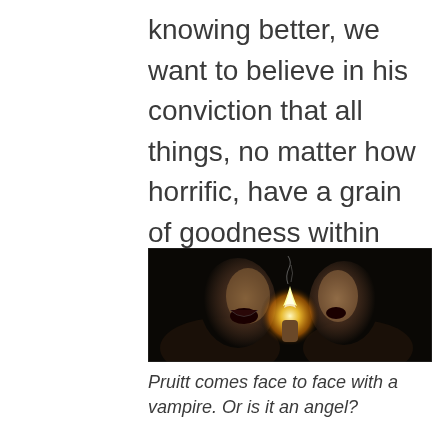knowing better, we want to believe in his conviction that all things, no matter how horrific, have a grain of goodness within them.
[Figure (photo): Two people facing each other in near darkness, one holding a lit flame or match between them. The scene is dramatically lit, suggesting a confrontation. One figure has mouth open wide.]
Pruitt comes face to face with a vampire. Or is it an angel?